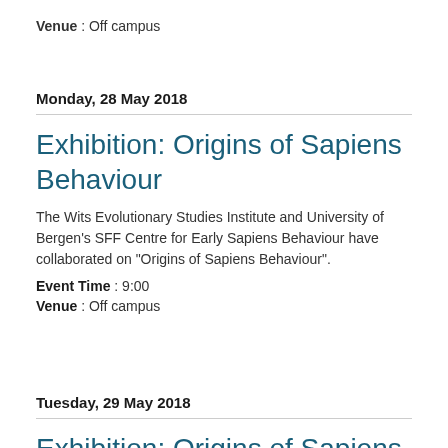Venue : Off campus
Monday, 28 May 2018
Exhibition: Origins of Sapiens Behaviour
The Wits Evolutionary Studies Institute and University of Bergen's SFF Centre for Early Sapiens Behaviour have collaborated on "Origins of Sapiens Behaviour".
Event Time : 9:00
Venue : Off campus
Tuesday, 29 May 2018
Exhibition: Origins of Sapiens